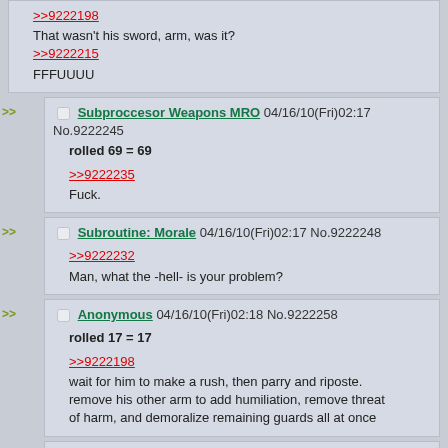>>9222198
That wasn't his sword, arm, was it?
>>9222215
FFFUUUU
Subproccesor Weapons MRO 04/16/10(Fri)02:17 No.9222245
rolled 69 = 69
>>9222235
Fuck.
Subroutine: Morale 04/16/10(Fri)02:17 No.9222248
>>9222232
Man, what the -hell- is your problem?
Anonymous 04/16/10(Fri)02:18 No.9222258
rolled 17 = 17
>>9222198
wait for him to make a rush, then parry and riposte. remove his other arm to add humiliation, remove threat of harm, and demoralize remaining guards all at once
Anonymous 04/16/10(Fri)02:19 No.9222279